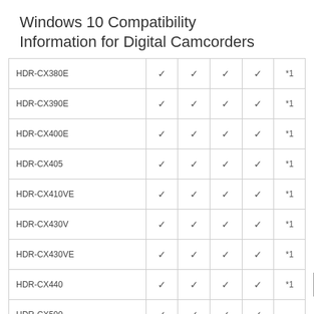Windows 10 Compatibility Information for Digital Camcorders
| Model |  |  |  |  |  |
| --- | --- | --- | --- | --- | --- |
| HDR-CX380E | ✓ | ✓ | ✓ | ✓ | *1 |
| HDR-CX390E | ✓ | ✓ | ✓ | ✓ | *1 |
| HDR-CX400E | ✓ | ✓ | ✓ | ✓ | *1 |
| HDR-CX405 | ✓ | ✓ | ✓ | ✓ | *1 |
| HDR-CX410VE | ✓ | ✓ | ✓ | ✓ | *1 |
| HDR-CX430V | ✓ | ✓ | ✓ | ✓ | *1 |
| HDR-CX430VE | ✓ | ✓ | ✓ | ✓ | *1 |
| HDR-CX440 | ✓ | ✓ | ✓ | ✓ | *1 |
| HDR-CX500 | ✓ | ✓ | ✓ | ✓ |  |
|  |  |  |  |  |  |